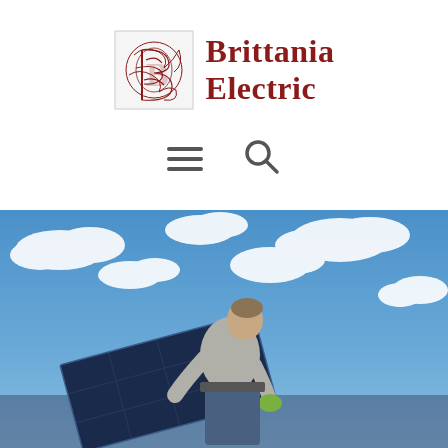[Figure (logo): Brittania Electric logo with ornate red circular monogram icon and company name in dark red serif font]
[Figure (other): Hamburger menu icon (three horizontal lines) and magnifying glass search icon]
[Figure (photo): A technician in work clothes and gloves installing or adjusting a solar panel against a blue sky with white clouds]